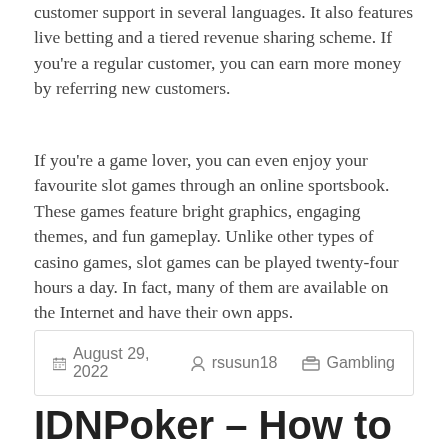customer support in several languages. It also features live betting and a tiered revenue sharing scheme. If you're a regular customer, you can earn more money by referring new customers.
If you're a game lover, you can even enjoy your favourite slot games through an online sportsbook. These games feature bright graphics, engaging themes, and fun gameplay. Unlike other types of casino games, slot games can be played twenty-four hours a day. In fact, many of them are available on the Internet and have their own apps.
August 29, 2022  rsusun18  Gambling
IDNPoker – How to